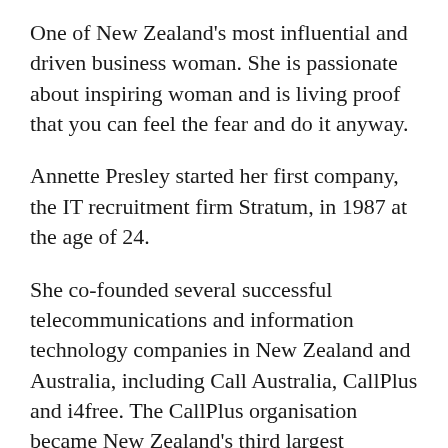One of New Zealand's most influential and driven business woman. She is passionate about inspiring woman and is living proof that you can feel the fear and do it anyway.
Annette Presley started her first company, the IT recruitment firm Stratum, in 1987 at the age of 24.
She co-founded several successful telecommunications and information technology companies in New Zealand and Australia, including Call Australia, CallPlus and i4free. The CallPlus organisation  became New Zealand's third largest telecommunications and broadband provider during her leadership. She was a leader in driving the unbundling of the local loop in New Zealand, which brought pricing down more than 50 percent and